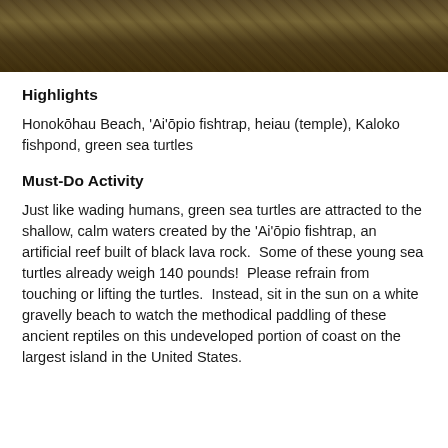[Figure (photo): Cropped top portion of a nature/outdoor photo showing dark tones of lava rock or vegetation, partially visible at the top of the page.]
Highlights
Honokōhau Beach, 'Ai'ōpio fishtrap, heiau (temple), Kaloko fishpond, green sea turtles
Must-Do Activity
Just like wading humans, green sea turtles are attracted to the shallow, calm waters created by the 'Ai'ōpio fishtrap, an artificial reef built of black lava rock.  Some of these young sea turtles already weigh 140 pounds!  Please refrain from touching or lifting the turtles.  Instead, sit in the sun on a white gravelly beach to watch the methodical paddling of these ancient reptiles on this undeveloped portion of coast on the largest island in the United States.